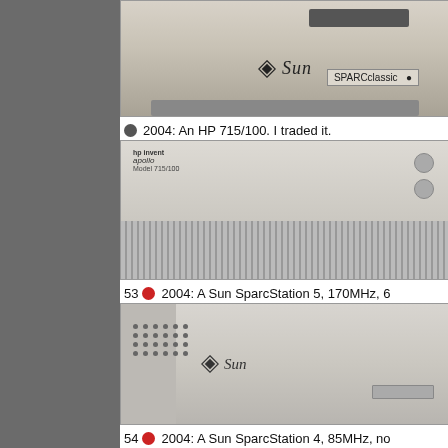[Figure (photo): Photo of a Sun SPARCclassic workstation, beige/gray color, showing Sun logo and SPARCclassic label on front panel with floppy drive slot]
2004: An HP 715/100. I traded it.
[Figure (photo): Photo of an HP 715/100 workstation (Apollo), silver/beige rack-mount unit with HP and Apollo branding labels, two circular buttons on right side, ventilation grilles at bottom]
53 2004: A Sun SparcStation 5, 170MHz, 6
[Figure (photo): Photo of a Sun SparcStation 5, showing Sun logo on front panel, dot-matrix ventilation pattern on left side]
54 2004: A Sun SparcStation 4, 85MHz, no